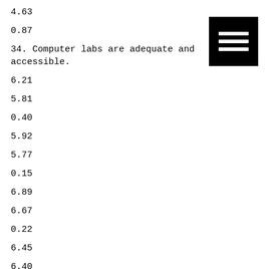4.63
0.87
34. Computer labs are adequate and accessible.
6.21
5.81
0.40
5.92
5.77
0.15
6.89
6.67
0.22
6.45
6.40
0.05
[Figure (other): Black square icon with three white horizontal lines (hamburger menu icon)]